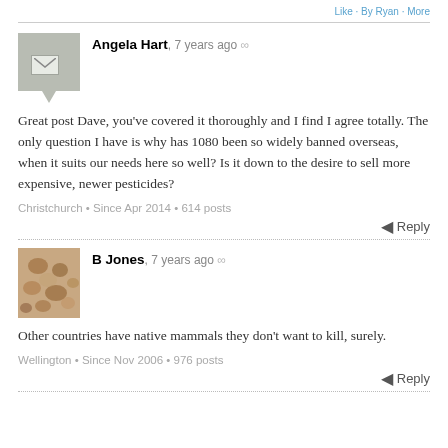Angela Hart, 7 years ago ∞
Great post Dave, you've covered it thoroughly and I find I agree totally. The only question I have is why has 1080 been so widely banned overseas, when it suits our needs here so well? Is it down to the desire to sell more expensive, newer pesticides?
Christchurch • Since Apr 2014 • 614 posts
Reply
B Jones, 7 years ago ∞
Other countries have native mammals they don't want to kill, surely.
Wellington • Since Nov 2006 • 976 posts
Reply